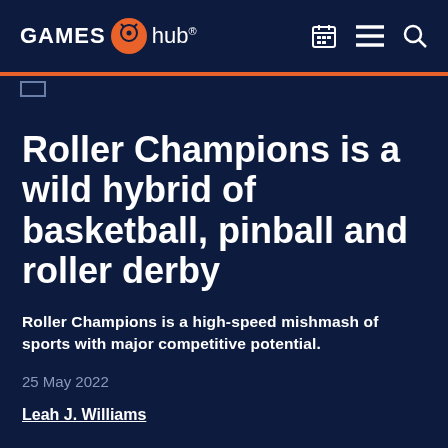GAMES hub
Roller Champions is a wild hybrid of basketball, pinball and roller derby
Roller Champions is a high-speed mishmash of sports with major competitive potential.
25 May 2022
Leah J. Williams